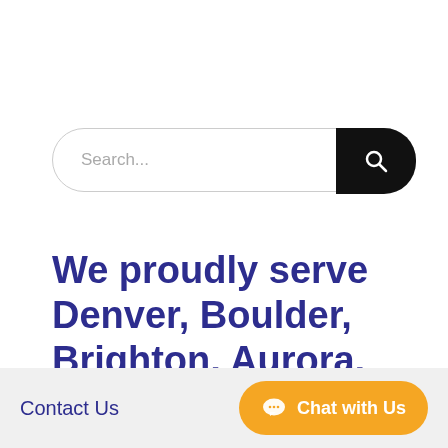[Figure (screenshot): Search bar with rounded pill shape, gray border, placeholder text 'Search...' and a black rounded button on the right with a white magnifying glass icon]
We proudly serve Denver, Boulder, Brighton, Aurora, CO. and surrounding areas!
Contact Us
Chat with Us